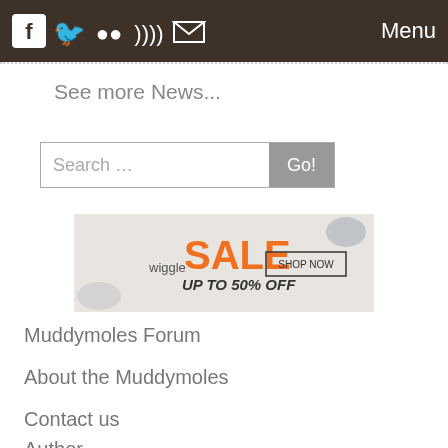Facebook Twitter Flickr RSS Email | Menu
See more News...
Search …
[Figure (infographic): Wiggle SALE UP TO 50% OFF advertisement banner with sports shoes, sunglasses, and cycling jersey. SHOP NOW button visible.]
Muddymoles Forum
About the Muddymoles
Contact us
Author